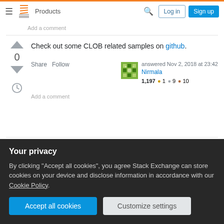≡  [Stack Overflow logo]  Products  🔍  Log in  Sign up
Add a comment
Check out some CLOB related samples on github.
0
Share   Follow       answered Nov 2, 2018 at 23:42   Nirmala   1,197 ●1 ●9 ●10
Add a comment
Your Answer
Your privacy
By clicking "Accept all cookies", you agree Stack Exchange can store cookies on your device and disclose information in accordance with our Cookie Policy.
Accept all cookies   Customize settings